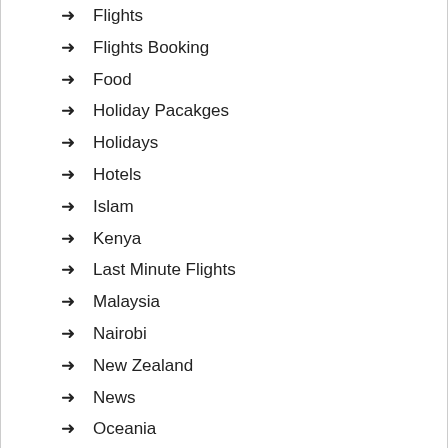Flights
Flights Booking
Food
Holiday Pacakges
Holidays
Hotels
Islam
Kenya
Last Minute Flights
Malaysia
Nairobi
New Zealand
News
Oceania
South America
Sports
Summer Pacakges
Thailand